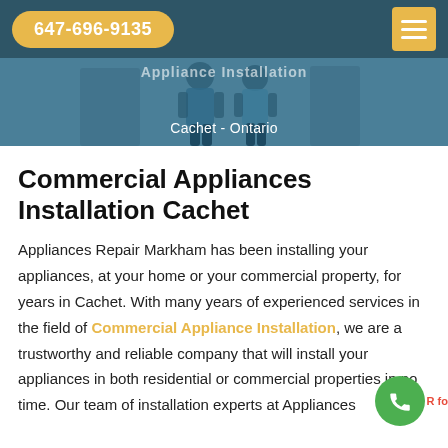647-696-9135
[Figure (photo): Hero image of appliance installation technician working, with text overlay 'Appliance Installation' and subtitle 'Cachet - Ontario' on a teal/dark background]
Commercial Appliances Installation Cachet
Appliances Repair Markham has been installing your appliances, at your home or your commercial property, for years in Cachet. With many years of experienced services in the field of Commercial Appliance Installation, we are a trustworthy and reliable company that will install your appliances in both residential or commercial properties in no time. Our team of installation experts at Appliances R fo